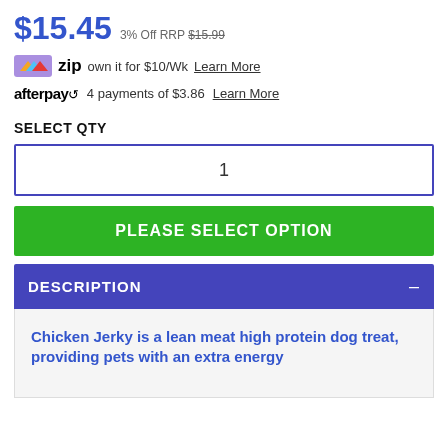$15.45 3% Off RRP $15.99
zip own it for $10/Wk Learn More
afterpay 4 payments of $3.86 Learn More
SELECT QTY
1
PLEASE SELECT OPTION
DESCRIPTION
Chicken Jerky is a lean meat high protein dog treat, providing pets with an extra energy